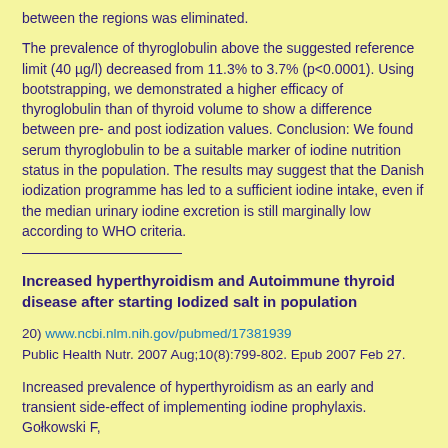between the regions was eliminated.
The prevalence of thyroglobulin above the suggested reference limit (40 µg/l) decreased from 11.3% to 3.7% (p<0.0001). Using bootstrapping, we demonstrated a higher efficacy of thyroglobulin than of thyroid volume to show a difference between pre- and post iodization values. Conclusion: We found serum thyroglobulin to be a suitable marker of iodine nutrition status in the population. The results may suggest that the Danish iodization programme has led to a sufficient iodine intake, even if the median urinary iodine excretion is still marginally low according to WHO criteria.
Increased hyperthyroidism and Autoimmune thyroid disease after starting Iodized salt in population
20) www.ncbi.nlm.nih.gov/pubmed/17381939
Public Health Nutr. 2007 Aug;10(8):799-802. Epub 2007 Feb 27.
Increased prevalence of hyperthyroidism as an early and transient side-effect of implementing iodine prophylaxis. Golkowski F,